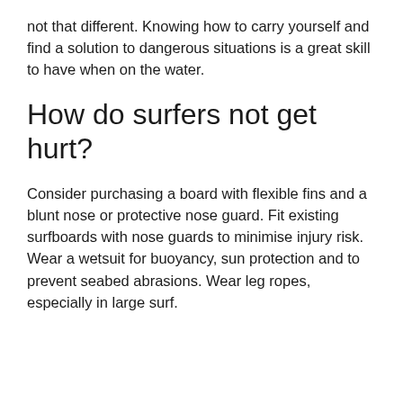not that different. Knowing how to carry yourself and find a solution to dangerous situations is a great skill to have when on the water.
How do surfers not get hurt?
Consider purchasing a board with flexible fins and a blunt nose or protective nose guard. Fit existing surfboards with nose guards to minimise injury risk. Wear a wetsuit for buoyancy, sun protection and to prevent seabed abrasions. Wear leg ropes, especially in large surf.